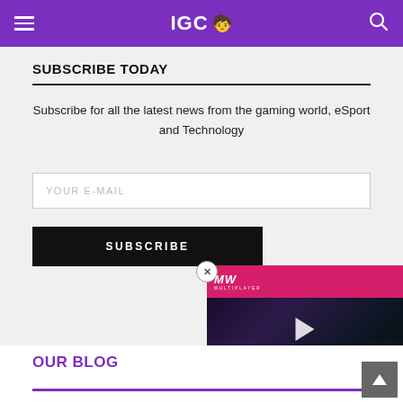IGC
SUBSCRIBE TODAY
Subscribe for all the latest news from the gaming world, eSport and Technology
YOUR E-MAIL
SUBSCRIBE
[Figure (screenshot): Video overlay with pink MW logo bar and text THE BEST IPAD GAMES with a play button over a dark gaming background]
OUR BLOG